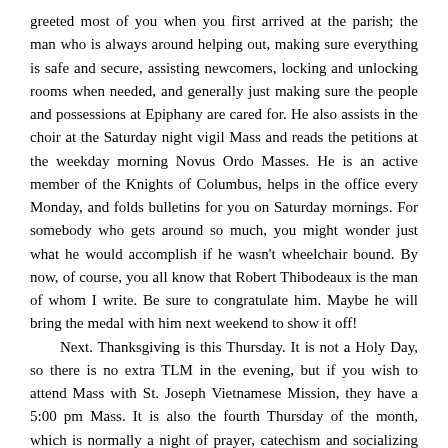greeted most of you when you first arrived at the parish; the man who is always around helping out, making sure everything is safe and secure, assisting newcomers, locking and unlocking rooms when needed, and generally just making sure the people and possessions at Epiphany are cared for. He also assists in the choir at the Saturday night vigil Mass and reads the petitions at the weekday morning Novus Ordo Masses. He is an active member of the Knights of Columbus, helps in the office every Monday, and folds bulletins for you on Saturday mornings. For somebody who gets around so much, you might wonder just what he would accomplish if he wasn't wheelchair bound. By now, of course, you all know that Robert Thibodeaux is the man of whom I write. Be sure to congratulate him. Maybe he will bring the medal with him next weekend to show it off!

Next. Thanksgiving is this Thursday. It is not a Holy Day, so there is no extra TLM in the evening, but if you wish to attend Mass with St. Joseph Vietnamese Mission, they have a 5:00 pm Mass. It is also the fourth Thursday of the month, which is normally a night of prayer, catechism and socializing for the men's Holy League. Since both Thanksgiving and, next month the Immaculate Conception and Christmas week interfere with the normal schedule, we are changing it up a bit. There will be no more meeting in November, but in December we will meet on the 1st, 15th, and 29th, returning to the normal second and fourth Thursdays in January. Please mark your calendars!

Finally, there will be a weekday Mass time change in the new year. When